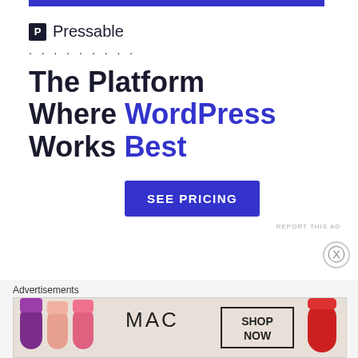[Figure (logo): Pressable logo with blue square P icon and company name]
The Platform Where WordPress Works Best
SEE PRICING
REPORT THIS AD
JONATHAN
February 8, 2018 / 9:13 am
Advertisements
[Figure (photo): MAC cosmetics advertisement showing lipsticks in purple, pink, red colors with MAC logo and SHOP NOW button]